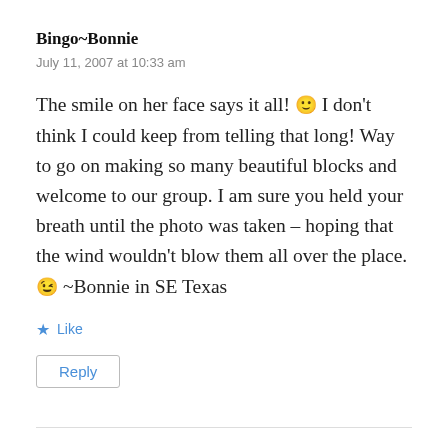Bingo~Bonnie
July 11, 2007 at 10:33 am
The smile on her face says it all! 🙂 I don't think I could keep from telling that long! Way to go on making so many beautiful blocks and welcome to our group. I am sure you held your breath until the photo was taken – hoping that the wind wouldn't blow them all over the place. 😉 ~Bonnie in SE Texas
★ Like
Reply